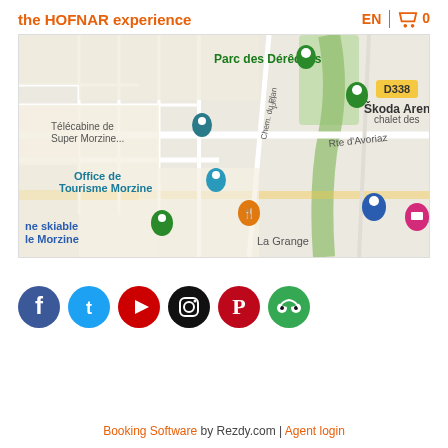the HOFNAR experience   EN  🛒 0
[Figure (map): Google Maps screenshot showing Morzine area with landmarks: Parc des Dérêches, Škoda Arena, D338 road label, Télécabine de Super Morzine, Office de Tourisme Morzine, Market Morzine, La Grange, Rte d'Avoriaz, Chem. du Plan, Chem. du Mas Merout, Chem. de la Salle, chalet des, ne skiable le Morzine. Various map pins visible.]
[Figure (infographic): Row of 6 social media icons: Facebook (blue), Twitter (light blue), YouTube (red), Instagram (black), Pinterest (red), TripAdvisor (green)]
Booking Software by Rezdy.com | Agent login